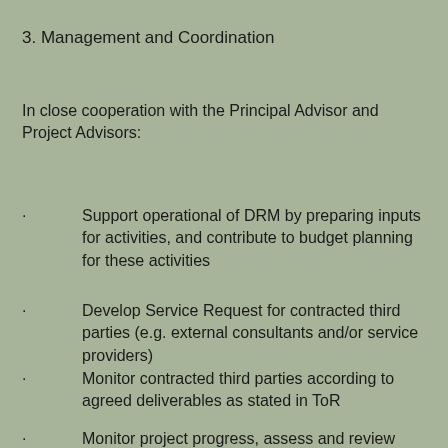3. Management and Coordination
In close cooperation with the Principal Advisor and Project Advisors:
Support operational of DRM by preparing inputs for activities, and contribute to budget planning for these activities
Develop Service Request for contracted third parties (e.g. external consultants and/or service providers)
Monitor contracted third parties according to agreed deliverables as stated in ToR
Monitor project progress, assess and review reports